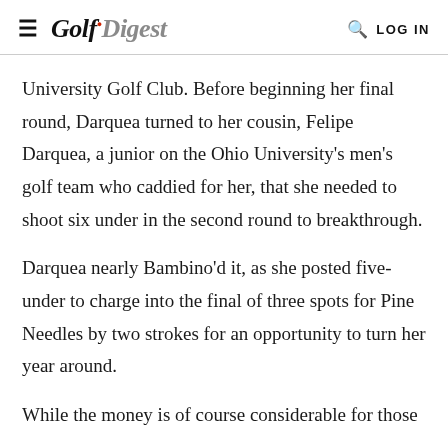Golf Digest — LOG IN
University Golf Club. Before beginning her final round, Darquea turned to her cousin, Felipe Darquea, a junior on the Ohio University's men's golf team who caddied for her, that she needed to shoot six under in the second round to breakthrough.
Darquea nearly Bambino'd it, as she posted five-under to charge into the final of three spots for Pine Needles by two strokes for an opportunity to turn her year around.
While the money is of course considerable for those